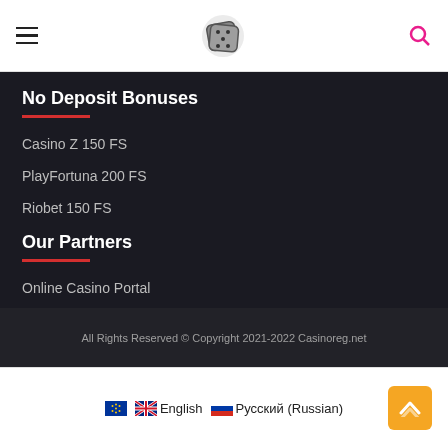[hamburger menu] [dice logo] [search icon]
No Deposit Bonuses
Casino Z 150 FS
PlayFortuna 200 FS
Riobet 150 FS
Our Partners
Online Casino Portal
Casino Promo Codes
All Rights Reserved © Copyright 2021-2022 Casinoreg.net
English | Русский (Russian)